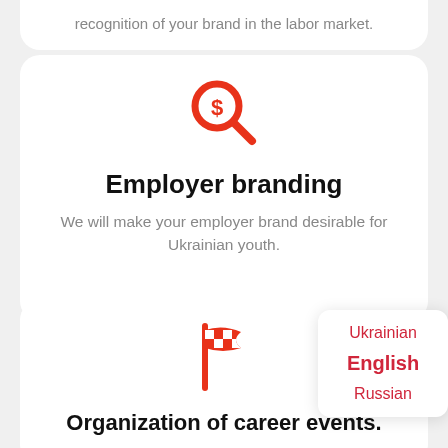recognition of your brand in the labor market.
[Figure (illustration): Red magnifying glass with dollar sign icon]
Employer branding
We will make your employer brand desirable for Ukrainian youth.
[Figure (illustration): Red checkered racing flag icon]
Organization of career events.
Take part in large-scale STUD-POINT career
Ukrainian
English
Russian